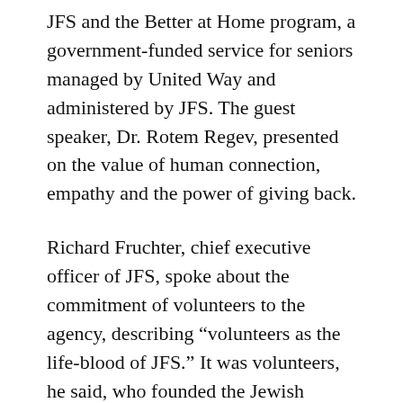JFS and the Better at Home program, a government-funded service for seniors managed by United Way and administered by JFS. The guest speaker, Dr. Rotem Regev, presented on the value of human connection, empathy and the power of giving back.
Richard Fruchter, chief executive officer of JFS, spoke about the commitment of volunteers to the agency, describing “volunteers as the life-blood of JFS.” It was volunteers, he said, who founded the Jewish Family Welfare Bureau of Vancouver (JFS’s original name) when it opened more than 80 years ago to assist the poor and elderly living in Vancouver, and to help resettle new immigrants fleeing antisemitism in Europe.
“Your commitment to uplifting lives, for our clients and community, is an example for us all,” Fruchter said. “By stepping up to help, offering your time…